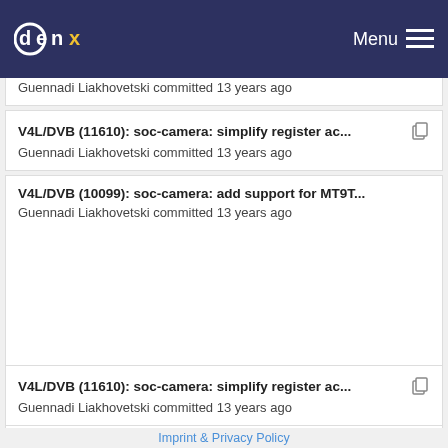denx Menu
Guennadi Liakhovetski committed 13 years ago
V4L/DVB (11610): soc-camera: simplify register ac... Guennadi Liakhovetski committed 13 years ago
V4L/DVB (10099): soc-camera: add support for MT9T... Guennadi Liakhovetski committed 13 years ago
V4L/DVB (11610): soc-camera: simplify register ac... Guennadi Liakhovetski committed 13 years ago
Imprint & Privacy Policy